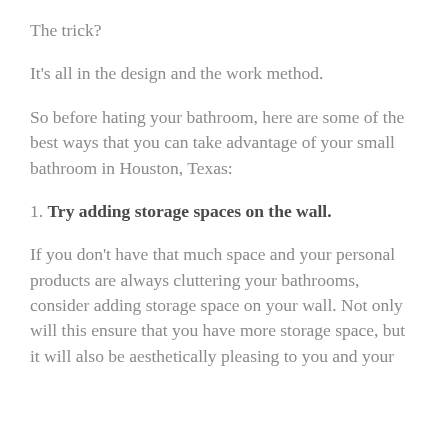The trick?
It's all in the design and the work method.
So before hating your bathroom, here are some of the best ways that you can take advantage of your small bathroom in Houston, Texas:
1. Try adding storage spaces on the wall.
If you don't have that much space and your personal products are always cluttering your bathrooms, consider adding storage space on your wall. Not only will this ensure that you have more storage space, but it will also be aesthetically pleasing to you and your